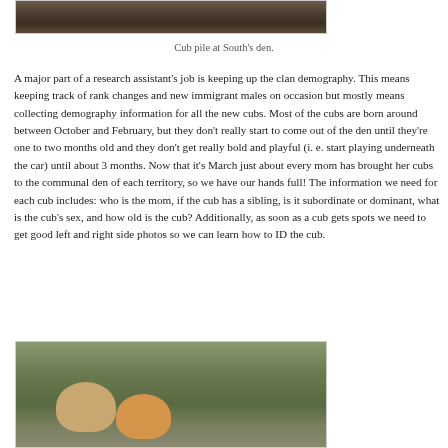[Figure (photo): Partial view of a cub pile at South's den, showing ground vegetation and animals from above]
Cub pile at South's den.
A major part of a research assistant's job is keeping up the clan demography. This means keeping track of rank changes and new immigrant males on occasion but mostly means collecting demography information for all the new cubs. Most of the cubs are born around between October and February, but they don't really start to come out of the den until they're one to two months old and they don't get really bold and playful (i. e. start playing underneath the car) until about 3 months. Now that it's March just about every mom has brought her cubs to the communal den of each territory, so we have our hands full! The information we need for each cub includes: who is the mom, if the cub has a sibling, is it subordinate or dominant, what is the cub's sex, and how old is the cub? Additionally, as soon as a cub gets spots we need to get good left and right side photos so we can learn how to ID the cub.
[Figure (photo): A hyena cub looking at the camera near a vehicle, with another cub visible beside it, in grassy terrain]